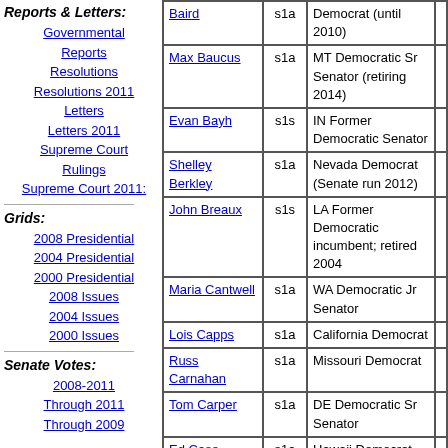Reports & Letters:
Governmental Reports
Resolutions
Resolutions 2011
Letters
Letters 2011
Supreme Court Rulings
Supreme Court 2011:
Grids:
2008 Presidential
2004 Presidential
2000 Presidential
2008 Issues
2004 Issues
2000 Issues
Senate Votes:
2008-2011
Through 2011
Through 2009
| Name | Code | Description |  |
| --- | --- | --- | --- |
| Baird | s1a | Democrat (until 2010) |  |
| Max Baucus | s1a | MT Democratic Sr Senator (retiring 2014) |  |
| Evan Bayh | s1s | IN Former Democratic Senator |  |
| Shelley Berkley | s1a | Nevada Democrat (Senate run 2012) |  |
| John Breaux | s1s | LA Former Democratic incumbent; retired 2004 |  |
| Maria Cantwell | s1a | WA Democratic Jr Senator |  |
| Lois Capps | s1a | California Democrat |  |
| Russ Carnahan | s1a | Missouri Democrat |  |
| Tom Carper | s1a | DE Democratic Sr Senator |  |
| Ed Case | s1a | Hawaii Democrat |  |